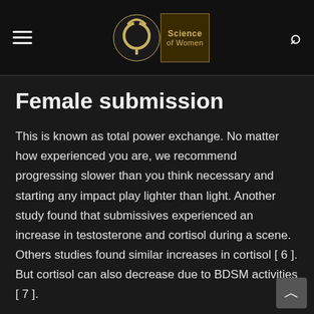Science of Women
Female submission
This is known as total power exchange. No matter how experienced you are, we recommend progressing slower than you think necessary and starting any impact play lighter than light. Another study found that submissives experienced an increase in testosterone and cortisol during a scene. Others studies found similar increases in cortisol [ 6 ]. But cortisol can also decrease due to BDSM activities [ 7 ].
This section does not cite any sources. Please help improve this section as a result of adding citations to reliable sources. Unsourced material may be challenged and apart.